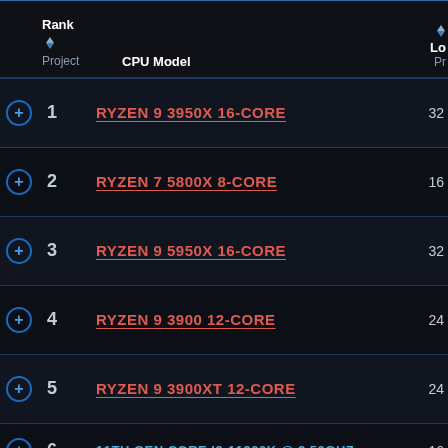|  | Rank / Project | CPU Model | Lo / Pr |
| --- | --- | --- | --- |
| ⊕ | 1 | RYZEN 9 3950X 16-CORE | 32 |
| ⊕ | 2 | RYZEN 7 5800X 8-CORE | 16 |
| ⊕ | 3 | RYZEN 9 5950X 16-CORE | 32 |
| ⊕ | 4 | RYZEN 9 3900 12-CORE | 24 |
| ⊕ | 5 | RYZEN 9 3900XT 12-CORE | 24 |
| ⊕ | 6 | 11TH GEN CORE I9-11900K @ 3.50GHZ | 16 |